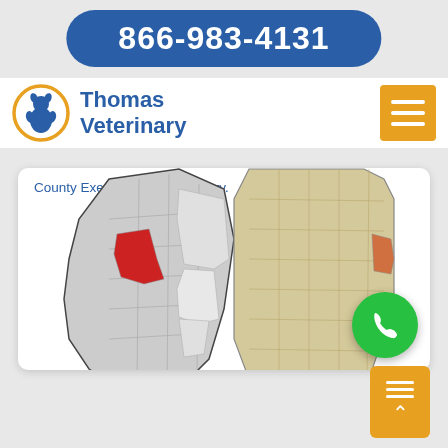866-983-4131
[Figure (logo): Thomas Veterinary logo with orange circle containing a dog/cat silhouette, and blue text 'Thomas Veterinary']
County Executive Gene McNary.
[Figure (map): Two maps side by side: left showing St. Louis County subdivisions with one area highlighted in red, right showing Missouri state map with a small area highlighted near eastern border]
Phone call float button (green circle with phone icon)